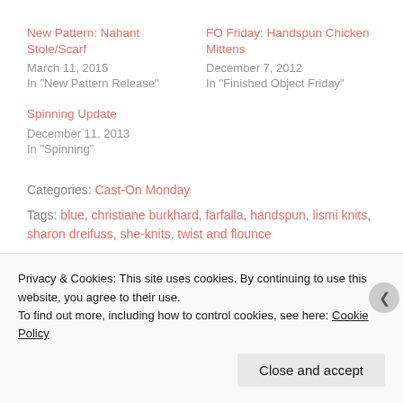New Pattern: Nahant Stole/Scarf
March 11, 2015
In "New Pattern Release"
FO Friday: Handspun Chicken Mittens
December 7, 2012
In "Finished Object Friday"
Spinning Update
December 11, 2013
In "Spinning"
Categories: Cast-On Monday
Tags: blue, christiane burkhard, farfalla, handspun, lismi knits, sharon dreifuss, she-knits, twist and flounce
Privacy & Cookies: This site uses cookies. By continuing to use this website, you agree to their use.
To find out more, including how to control cookies, see here: Cookie Policy
Close and accept